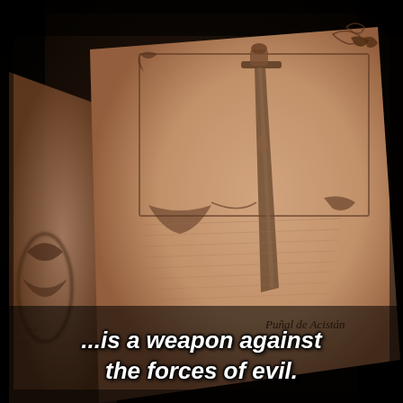[Figure (photo): A photograph showing an open old book with a page depicting an illustrated dagger or sword (labeled 'Punal de Asistan' or similar) with ornate decorative borders. The book pages are aged parchment-colored. The left page is partially visible with handwritten text and a date around 1898. The scene is dimly lit with dark background.]
...is a weapon against the forces of evil.